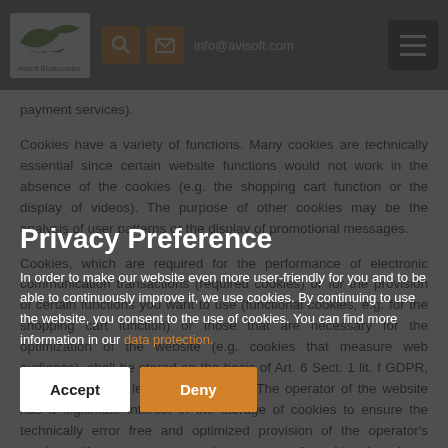info@avisoft.com
payment services).
Cookies have a variety of functions. Many cookies are technically essential since certain website functions would not work in the absence of the cookies (e.g. the shopping cart function or the display of videos). The purpose of other cookies may be the analysis of user patterns or the display of promotional messages.
Cookies, which are required for the performance of electronic communication transactions (required cookies) or for the provision of certain functions you want to use (functional cookies, e.g. for the shopping cart function) or those that are necessary for the optimization of the website (e.g. cookies that measure web audience), shall be stored on the basis of Art. 6 Sect. 1 lit. f GDPR, unless a different legal basis is cited. The operator of the website has a legitimate interest in the storage of cookies to ensure the technically error free and optimized provision of the operator's services. If your consent to the storage of cookies has been requested, the respective cookies are stored exclusively on the basis of the consent obtained (Art. 6 Sect. 1 lit. a GDPR); this consent may be revoked at any time.
Privacy Preference
In order to make our website even more user-friendly for you and to be able to continuously improve it, we use cookies. By continuing to use the website, you consent to the use of cookies. You can find more information in our data protection.